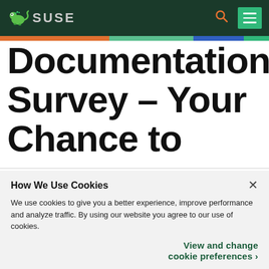[Figure (logo): SUSE logo with chameleon icon and SUSE text on dark green header bar with search and menu icons]
Documentation Survey – Your Chance to
How We Use Cookies
We use cookies to give you a better experience, improve performance and analyze traffic. By using our website you agree to our use of cookies.
View and change cookie preferences ›